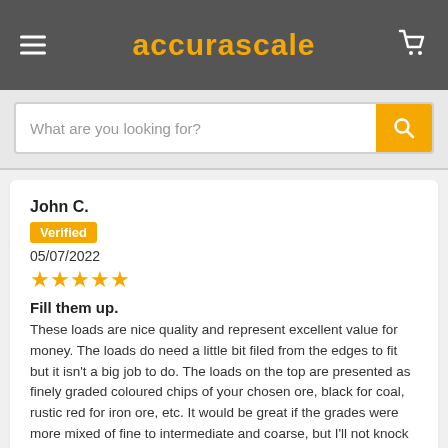accurascale
What are you looking for?
John C.
Verified
05/07/2022
★★★★★
Fill them up.
These loads are nice quality and represent excellent value for money. The loads do need a little bit filed from the edges to fit but it isn't a big job to do. The loads on the top are presented as finely graded coloured chips of your chosen ore, black for coal, rustic red for iron ore, etc. It would be great if the grades were more mixed of fine to intermediate and coarse, but I'll not knock it for what it is. I bought these initially in a bulk buy, to load up my PTA wagons, as I knew that they would sell out fast. Just as well as they didn't hang around for